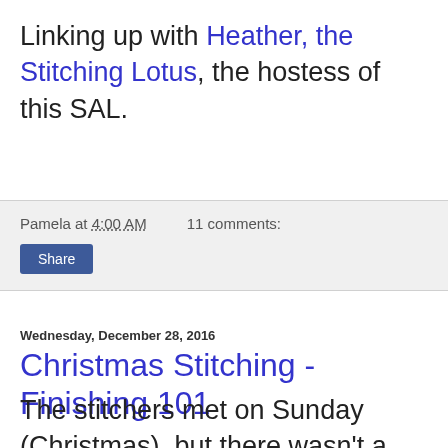Linking up with Heather, the Stitching Lotus, the hostess of this SAL.
Pamela at 4:00 AM    11 comments:
Share
Wednesday, December 28, 2016
Christmas Stitching - Finishing 101
The stitchers met on Sunday (Christmas), but there wasn't a needle in my hand because of my broken arm!  In our last session, they worked on cross stitch snowmen. This time, they needed to do the finishing into ornaments.